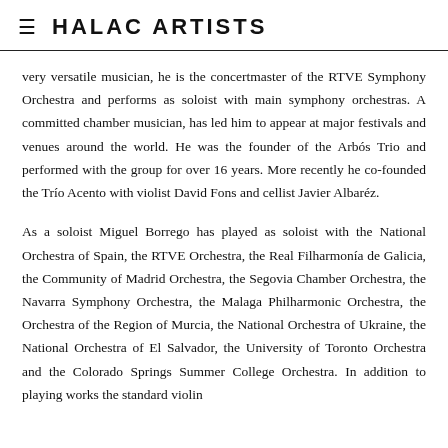≡  HALAC ARTISTS
very versatile musician, he is the concertmaster of the RTVE Symphony Orchestra and performs as soloist with main symphony orchestras. A committed chamber musician, has led him to appear at major festivals and venues around the world. He was the founder of the Arbós Trio and performed with the group for over 16 years. More recently he co-founded the Trío Acento with violist David Fons and cellist Javier Albaréz.
As a soloist Miguel Borrego has played as soloist with the National Orchestra of Spain, the RTVE Orchestra, the Real Filharmonía de Galicia, the Community of Madrid Orchestra, the Segovia Chamber Orchestra, the Navarra Symphony Orchestra, the Malaga Philharmonic Orchestra, the Orchestra of the Region of Murcia, the National Orchestra of Ukraine, the National Orchestra of El Salvador, the University of Toronto Orchestra and the Colorado Springs Summer College Orchestra. In addition to playing works the standard violin